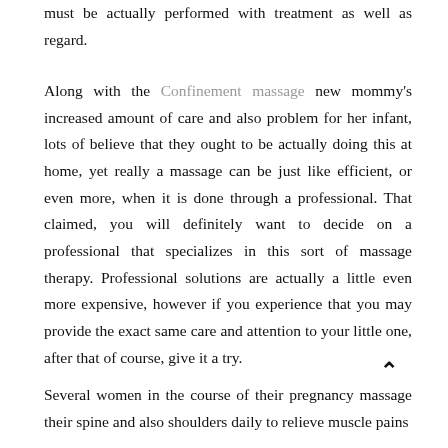must be actually performed with treatment as well as regard.
Along with the Confinement massage new mommy's increased amount of care and also problem for her infant, lots of believe that they ought to be actually doing this at home, yet really a massage can be just like efficient, or even more, when it is done through a professional. That claimed, you will definitely want to decide on a professional that specializes in this sort of massage therapy. Professional solutions are actually a little even more expensive, however if you experience that you may provide the exact same care and attention to your little one, after that of course, give it a try.
Several women in the course of their pregnancy massage their spine and also shoulders daily to relieve muscle pains